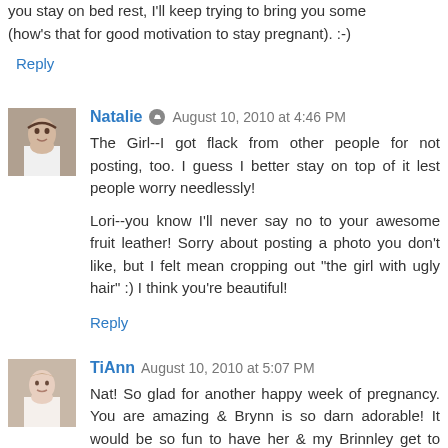you stay on bed rest, I'll keep trying to bring you some (how's that for good motivation to stay pregnant). :-)
Reply
Natalie  August 10, 2010 at 4:46 PM
The Girl--I got flack from other people for not posting, too. I guess I better stay on top of it lest people worry needlessly!

Lori--you know I'll never say no to your awesome fruit leather! Sorry about posting a photo you don't like, but I felt mean cropping out "the girl with ugly hair" :) I think you're beautiful!
Reply
TiAnn  August 10, 2010 at 5:07 PM
Nat! So glad for another happy week of pregnancy. You are amazing & Brynn is so darn adorable! It would be so fun to have her & my Brinnley get to play together some day. I'd love it.